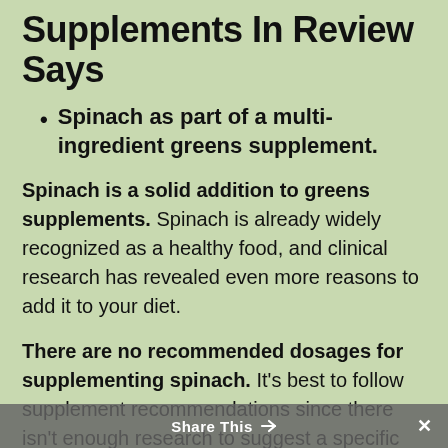Supplements In Review Says
Spinach as part of a multi-ingredient greens supplement.
Spinach is a solid addition to greens supplements. Spinach is already widely recognized as a healthy food, and clinical research has revealed even more reasons to add it to your diet.
There are no recommended dosages for supplementing spinach. It's best to follow supplement recommendations since there isn't enough research to suggest a specific dose.
Share This ×